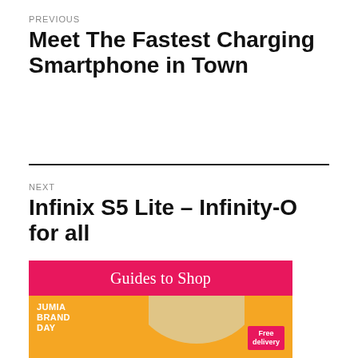PREVIOUS
Meet The Fastest Charging Smartphone in Town
NEXT
Infinix S5 Lite – Infinity-O for all
[Figure (illustration): Jumia Brand Day advertisement banner with pink header reading 'Guides to Shop' and orange lower section showing JUMIA BRAND DAY text and a red 'Free delivery' tag]